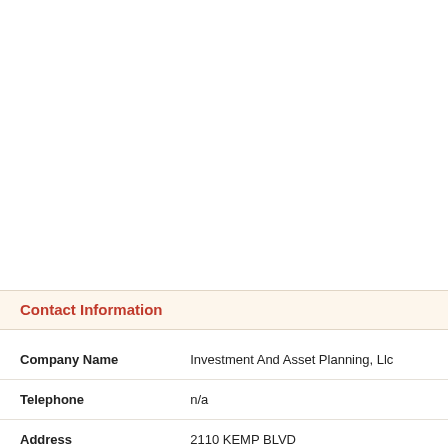Contact Information
| Field | Value |
| --- | --- |
| Company Name | Investment And Asset Planning, Llc |
| Telephone | n/a |
| Address | 2110 KEMP BLVD
WICHITA FALLS TX 76309 |